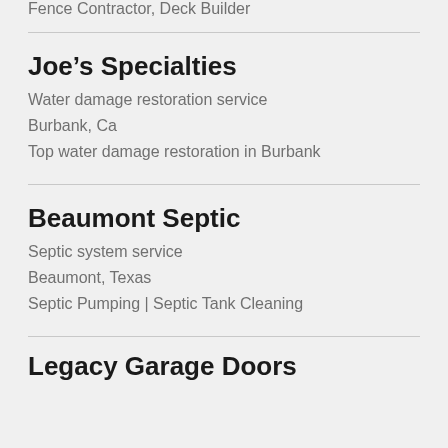Fence Contractor, Deck Builder
Joe's Specialties
Water damage restoration service
Burbank, Ca
Top water damage restoration in Burbank
Beaumont Septic
Septic system service
Beaumont, Texas
Septic Pumping | Septic Tank Cleaning
Legacy Garage Doors